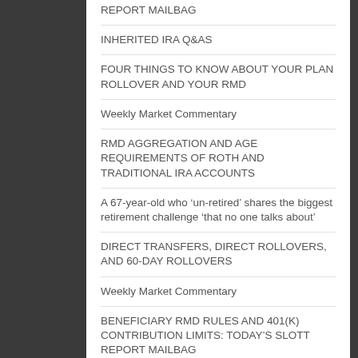REPORT MAILBAG
INHERITED IRA Q&AS
FOUR THINGS TO KNOW ABOUT YOUR PLAN ROLLOVER AND YOUR RMD
Weekly Market Commentary
RMD AGGREGATION AND AGE REQUIREMENTS OF ROTH AND TRADITIONAL IRA ACCOUNTS
A 67-year-old who ‘un-retired’ shares the biggest retirement challenge ‘that no one talks about’
DIRECT TRANSFERS, DIRECT ROLLOVERS, AND 60-DAY ROLLOVERS
Weekly Market Commentary
BENEFICIARY RMD RULES AND 401(K) CONTRIBUTION LIMITS: TODAY’S SLOTT REPORT MAILBAG